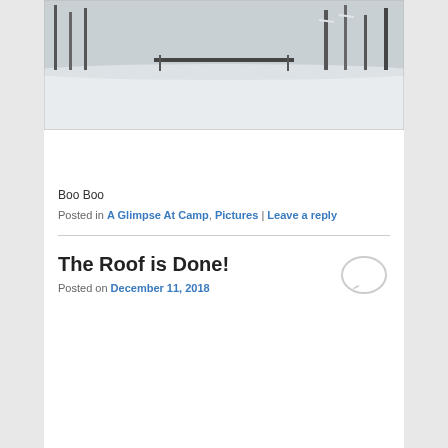[Figure (photo): Winter snow scene photograph, partially visible at top of page showing snowy landscape with trees]
Boo Boo
Posted in A Glimpse At Camp, Pictures | Leave a reply
The Roof is Done!
Posted on December 11, 2018